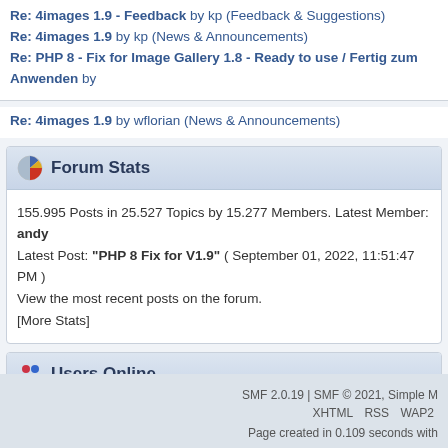Re: 4images 1.9 - Feedback by kp (Feedback & Suggestions)
Re: 4images 1.9 by kp (News & Announcements)
Re: PHP 8 - Fix for Image Gallery 1.8 - Ready to use / Fertig zum Anwenden by
Re: 4images 1.9 by wflorian (News & Announcements)
Forum Stats
155.995 Posts in 25.527 Topics by 15.277 Members. Latest Member: andy
Latest Post: "PHP 8 Fix for V1.9" ( September 01, 2022, 11:51:47 PM )
View the most recent posts on the forum.
[More Stats]
Users Online
187 Guests, 0 Users
Most Online Today: 218. Most Online Ever: 1.627 (May 18, 2022, 05:16:37 AM)
SMF 2.0.19 | SMF © 2021, Simple M
XHTML   RSS   WAP2
Page created in 0.109 seconds with